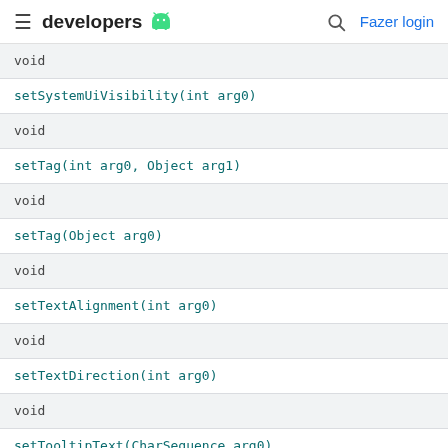developers [android logo] | [search] Fazer login
| void |
| setSystemUiVisibility(int arg0) |
| void |
| setTag(int arg0, Object arg1) |
| void |
| setTag(Object arg0) |
| void |
| setTextAlignment(int arg0) |
| void |
| setTextDirection(int arg0) |
| void |
| setTooltipText(CharSequence arg0) |
| final void |
| setTap(int arg0) |